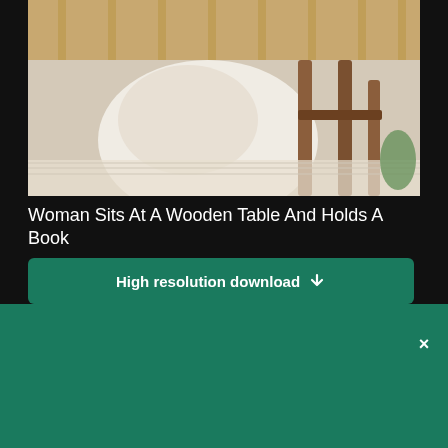[Figure (photo): Photo of a woman in white clothing sitting at a wooden table, viewed from behind/side, holding a book. Wooden furniture with light rug visible.]
Woman Sits At A Wooden Table And Holds A Book
High resolution download ↓
[Figure (screenshot): Dark band showing partially visible background content]
×
[Figure (logo): Shopify logo — shopping bag icon and 'shopify' wordmark in white on green background]
Need an online store for your business?
Start free trial